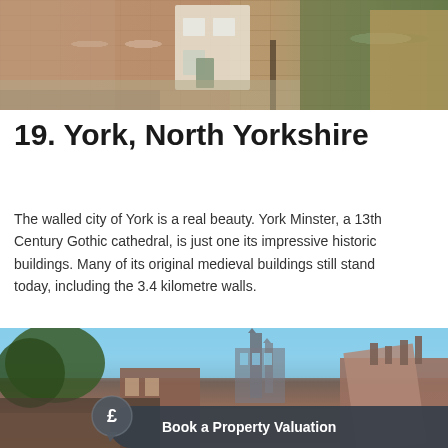[Figure (photo): Photo of brick houses/cottages on a street with ivy-covered walls and a cobbled driveway]
19. York, North Yorkshire
The walled city of York is a real beauty. York Minster, a 13th Century Gothic cathedral, is just one its impressive historic buildings. Many of its original medieval buildings still stand today, including the 3.4 kilometre walls.
[Figure (photo): Photo of York cityscape showing York Minster cathedral against a blue sky with brick buildings in foreground and a 'Book a Property Valuation' call-to-action overlay with a pound sign speech bubble icon]